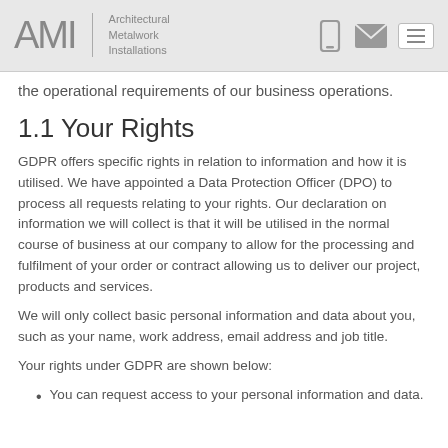AMI | Architectural Metalwork Installations
the operational requirements of our business operations.
1.1 Your Rights
GDPR offers specific rights in relation to information and how it is utilised. We have appointed a Data Protection Officer (DPO) to process all requests relating to your rights. Our declaration on information we will collect is that it will be utilised in the normal course of business at our company to allow for the processing and fulfilment of your order or contract allowing us to deliver our project, products and services.
We will only collect basic personal information and data about you, such as your name, work address, email address and job title.
Your rights under GDPR are shown below:
You can request access to your personal information and data.